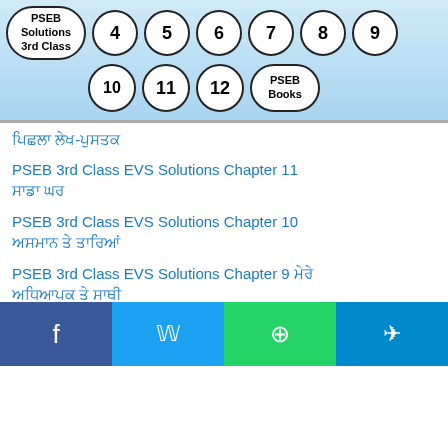PSEB Solutions 3rd Class navigation: 4, 5, 6, 7, 8, 9, 10, 11, 12, PSEB Books
ਪਿਛਲਾ ਲੇਖ-ਪੁਸਤਕ
PSEB 3rd Class EVS Solutions Chapter 11 ਸਾਡਾ ਘਰ
PSEB 3rd Class EVS Solutions Chapter 10 ਅਸਮਾਨ ਤੇ ਤਾਰਿਆਂ
PSEB 3rd Class EVS Solutions Chapter 9 ਮੇਰੇ ਅਧਿਆਪਕ ਤੇ ਸਾਥੀ